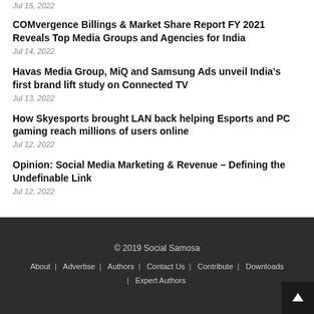Jul 15, 2022
COMvergence Billings & Market Share Report FY 2021 Reveals Top Media Groups and Agencies for India
Jul 14, 2022
Havas Media Group, MiQ and Samsung Ads unveil India’s first brand lift study on Connected TV
Jul 13, 2022
How Skyesports brought LAN back helping Esports and PC gaming reach millions of users online
Jul 12, 2022
Opinion: Social Media Marketing & Revenue – Defining the Undefinable Link
Jul 12, 2022
© 2019 Social Samosa | About | Advertise | Authors | Contact Us | Contribute | Downloads | Expert Authors